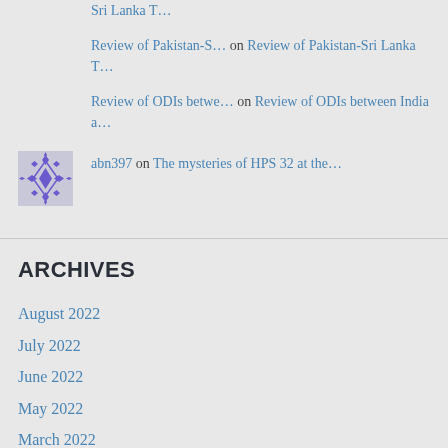Sri Lanka T…
Review of Pakistan-S… on Review of Pakistan-Sri Lanka T…
Review of ODIs betwe… on Review of ODIs between India a…
[Figure (illustration): Purple decorative geometric avatar icon with diamond/rhombus pattern]
abn397 on The mysteries of HPS 32 at the…
ARCHIVES
August 2022
July 2022
June 2022
May 2022
March 2022
February 2022
January 2022
December 2021
November 2021